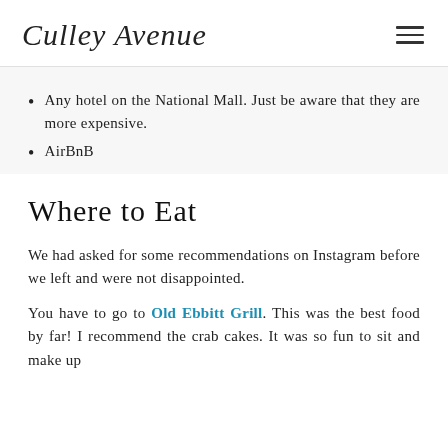Culley Avenue
Any hotel on the National Mall. Just be aware that they are more expensive.
AirBnB
Where to Eat
We had asked for some recommendations on Instagram before we left and were not disappointed.
You have to go to Old Ebbitt Grill. This was the best food by far! I recommend the crab cakes. It was so fun to sit and make up